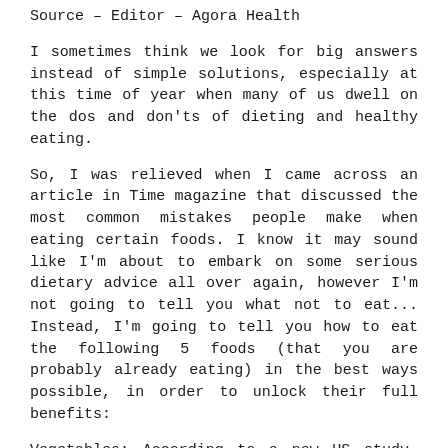Source – Editor – Agora Health
I sometimes think we look for big answers instead of simple solutions, especially at this time of year when many of us dwell on the dos and don'ts of dieting and healthy eating.
So, I was relieved when I came across an article in Time magazine that discussed the most common mistakes people make when eating certain foods. I know it may sound like I'm about to embark on some serious dietary advice all over again, however I'm not going to tell you what not to eat... Instead, I'm going to tell you how to eat the following 5 foods (that you are probably already eating) in the best ways possible, in order to unlock their full benefits:
Vegetables: According to a new US study, from the University of Illinois, steaming your vegetables helps retain their cancer-fighting nutrients (like sulphoraphane in broccoli) for